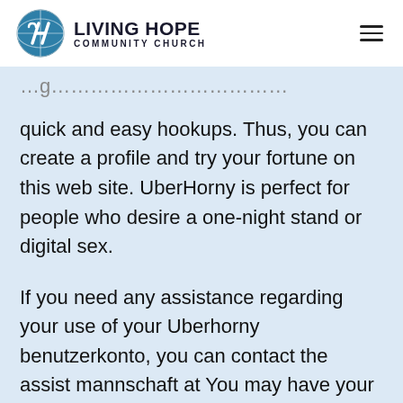[Figure (logo): Living Hope Community Church logo with circular globe/cross emblem and text]
quick and easy hookups. Thus, you can create a profile and try your fortune on this web site. UberHorny is perfect for people who desire a one-night stand or digital sex.
If you need any assistance regarding your use of your Uberhorny benutzerkonto, you can contact the assist mannschaft at You may have your account reactivated if it was merely a temporary ban.
I'm arousal and relationships, and darüber hinaus